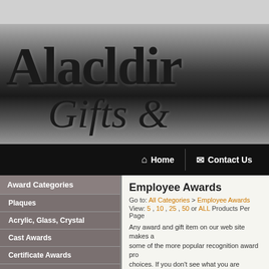[Figure (logo): Aladdin Gifts & banner with gradient grey-to-dark background and serif bold italic text]
Home | Contact Us navigation bar
Award Categories
Plaques
Acrylic, Glass, Crystal
Cast Awards
Certificate Awards
Clock Awards
Cup Trophy Awards
Employee Awards
Go to: All Categories > Employee Awards
View: 5 , 10 , 25 , 50 or ALL Products Per Page
Any award and gift item on our web site makes a... some of the more popular recognition award pro... choices. If you don't see what you are looking fo...
Go to Page: [Prev] [40]
Crystal Spinni...